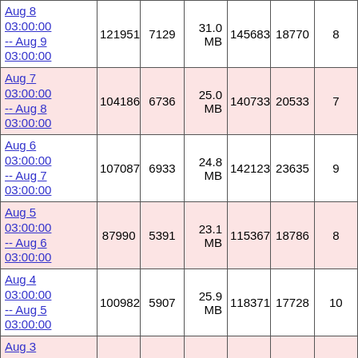| Date Range | Col2 | Col3 | Col4 | Col5 | Col6 | Col7 |
| --- | --- | --- | --- | --- | --- | --- |
| Aug 8 03:00:00 -- Aug 9 03:00:00 | 121951 | 7129 | 31.0 MB | 145683 | 18770 | 8... |
| Aug 7 03:00:00 -- Aug 8 03:00:00 | 104186 | 6736 | 25.0 MB | 140733 | 20533 | 7... |
| Aug 6 03:00:00 -- Aug 7 03:00:00 | 107087 | 6933 | 24.8 MB | 142123 | 23635 | 9... |
| Aug 5 03:00:00 -- Aug 6 03:00:00 | 87990 | 5391 | 23.1 MB | 115367 | 18786 | 8... |
| Aug 4 03:00:00 -- Aug 5 03:00:00 | 100982 | 5907 | 25.9 MB | 118371 | 17728 | 10... |
| Aug 3 03:00:00 -- Aug 4 03:00:00 | 109406 | 6458 | 29.0 MB | 147095 | 22954 | 12... |